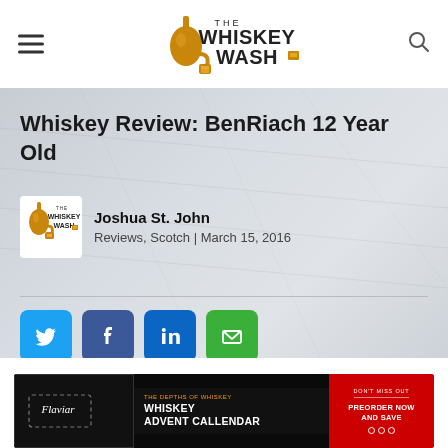The Whiskey Wash
Whiskey Review: BenRiach 12 Year Old
Joshua St. John
Reviews, Scotch | March 15, 2016
[Figure (other): Social share buttons: Twitter (blue), Facebook (dark blue), LinkedIn (blue), Email (green)]
[Figure (other): Flaviar advertisement banner: The Depths of Whiskey - Whiskey Advent Callendar - Preorder Now and Save]